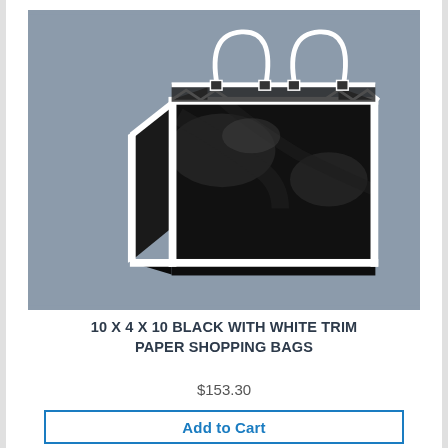[Figure (photo): Product photo of a black glossy paper shopping bag with white trim and white rope handles, displayed on a gray background. The bag is shown at a slight angle.]
10 X 4 X 10 BLACK WITH WHITE TRIM PAPER SHOPPING BAGS
$153.30
Add to Cart